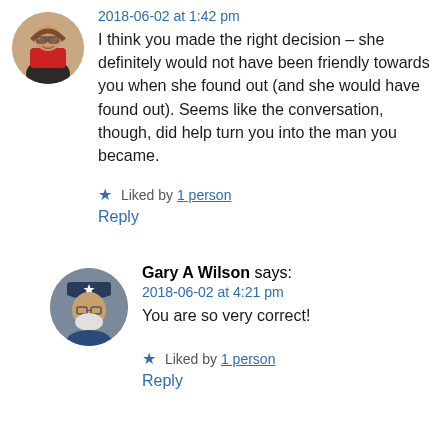[Figure (photo): Circular avatar photo of a smiling woman with glasses and long hair, wearing a red and black outfit]
2018-06-02 at 1:42 pm
I think you made the right decision – she definitely would not have been friendly towards you when she found out (and she would have found out). Seems like the conversation, though, did help turn you into the man you became.
★ Liked by 1 person
Reply
[Figure (photo): Circular avatar photo of an older man with white beard, glasses, and a blue hat with a star]
Gary A Wilson says:
2018-06-02 at 4:21 pm
You are so very correct!
★ Liked by 1 person
Reply